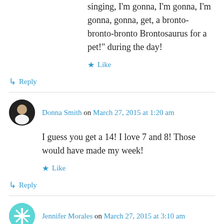singing, I'm gonna, I'm gonna, I'm gonna, gonna, get, a bronto-bronto-bronto Brontosaurus for a pet!" during the day!
Like
Reply
Donna Smith on March 27, 2015 at 1:20 am
I guess you get a 14! I love 7 and 8! Those would have made my week!
Like
Reply
Jennifer Morales on March 27, 2015 at 3:10 am
You have so much to be positive about!